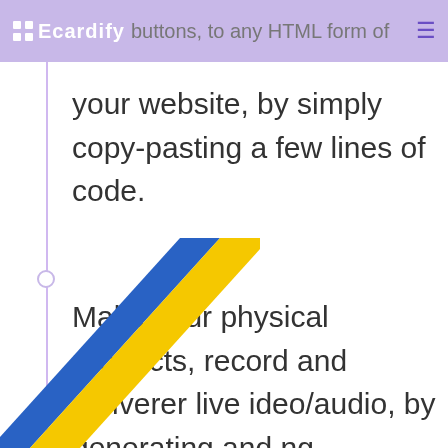Ecardify  buttons, to any HTML form of your website
your website, by simply copy-pasting a few lines of code.
Make your physical products, record and deliverer live ideo/audio, by generating and ng Recordable QR Codes